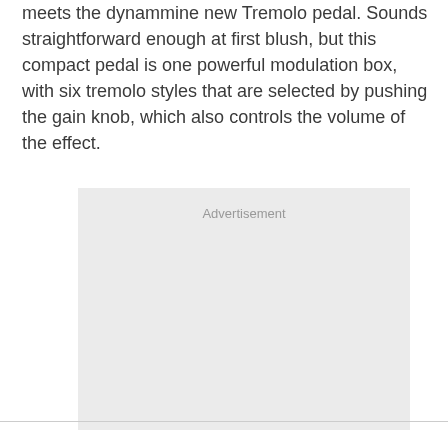meets the dynammine new Tremolo pedal. Sounds straightforward enough at first blush, but this compact pedal is one powerful modulation box, with six tremolo styles that are selected by pushing the gain knob, which also controls the volume of the effect.
[Figure (other): Advertisement placeholder box with light gray background and 'Advertisement' label text centered at top]